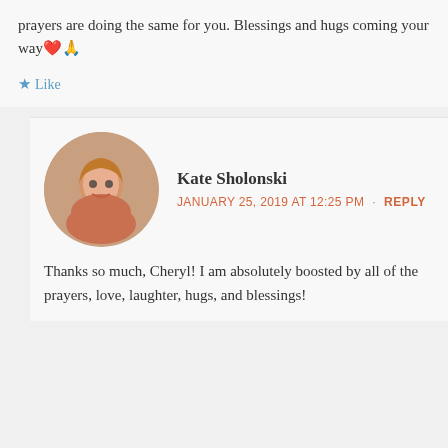prayers are doing the same for you. Blessings and hugs coming your way❤️🙏
Like
Kate Sholonski
JANUARY 25, 2019 AT 12:25 PM · REPLY
Thanks so much, Cheryl! I am absolutely boosted by all of the prayers, love, laughter, hugs, and blessings!
Privacy & Cookies: This site uses cookies. By continuing to use this website, you agree to their use.
To find out more, including how to control cookies, see here: Cookie Policy
Close and accept